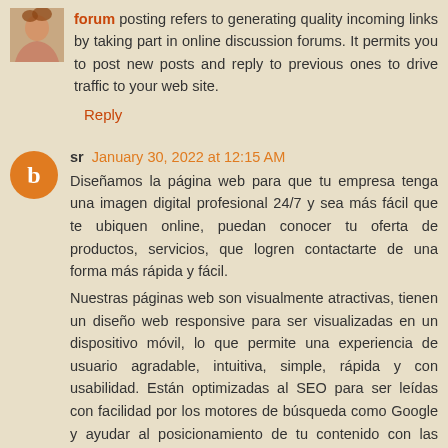forum posting refers to generating quality incoming links by taking part in online discussion forums. It permits you to post new posts and reply to previous ones to drive traffic to your web site.
Reply
sr  January 30, 2022 at 12:15 AM
Diseñamos la página web para que tu empresa tenga una imagen digital profesional 24/7 y sea más fácil que te ubiquen online, puedan conocer tu oferta de productos, servicios, que logren contactarte de una forma más rápida y fácil.
Nuestras páginas web son visualmente atractivas, tienen un diseño web responsive para ser visualizadas en un dispositivo móvil, lo que permite una experiencia de usuario agradable, intuitiva, simple, rápida y con usabilidad. Están optimizadas al SEO para ser leídas con facilidad por los motores de búsqueda como Google y ayudar al posicionamiento de tu contenido con las palabras clave con las que deseas darte a conocer.